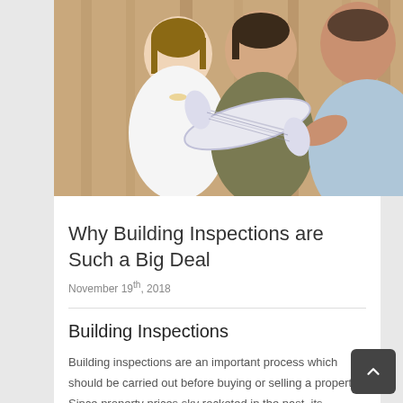[Figure (photo): Two people (a woman in a white top and a man in a light blue shirt) examining rolled blueprints or plans, with a wooden structure visible in the background.]
Why Building Inspections are Such a Big Deal
November 19th, 2018
Building Inspections
Building inspections are an important process which should be carried out before buying or selling a property. Since property prices sky rocketed in the past, its necessary for